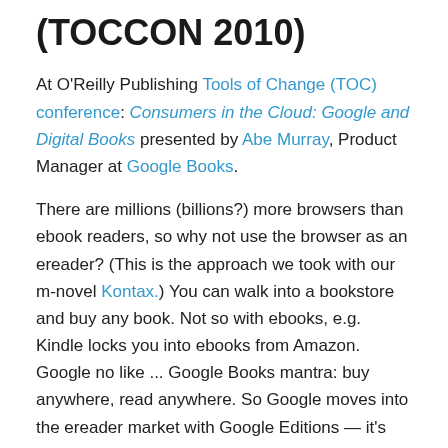(TOCCON 2010)
At O'Reilly Publishing Tools of Change (TOC) conference: Consumers in the Cloud: Google and Digital Books presented by Abe Murray, Product Manager at Google Books.
There are millions (billions?) more browsers than ebook readers, so why not use the browser as an ereader? (This is the approach we took with our m-novel Kontax.) You can walk into a bookstore and buy any book. Not so with ebooks, e.g. Kindle locks you into ebooks from Amazon. Google no like ... Google Books mantra: buy anywhere, read anywhere. So Google moves into the ereader market with Google Editions — it's browser-based and in the cloud (of course)!